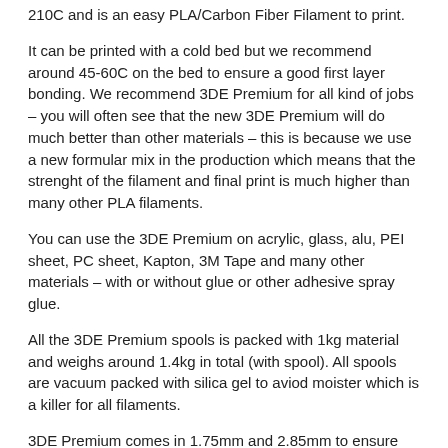210C and is an easy PLA/Carbon Fiber Filament to print.
It can be printed with a cold bed but we recommend around 45-60C on the bed to ensure a good first layer bonding. We recommend 3DE Premium for all kind of jobs – you will often see that the new 3DE Premium will do much better than other materials – this is because we use a new formular mix in the production which means that the strenght of the filament and final print is much higher than many other PLA filaments.
You can use the 3DE Premium on acrylic, glass, alu, PEI sheet, PC sheet, Kapton, 3M Tape and many other materials – with or without glue or other adhesive spray glue.
All the 3DE Premium spools is packed with 1kg material and weighs around 1.4kg in total (with spool). All spools are vacuum packed with silica gel to aviod moister which is a killer for all filaments.
3DE Premium comes in 1.75mm and 2.85mm to ensure that all normal types of 3dprinters can use our filament.
We ensure a perfect roundness and tight diameter control of the filament – this will ensure that you will recieve a good quality filament for your 3dprinter. 3DE Premium is the best selling 3dprinter filament in our store.